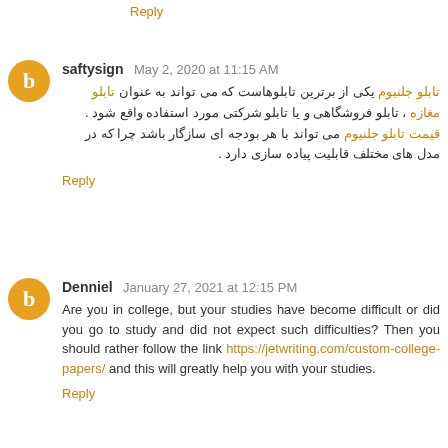really helpful, too
Reply
saftysign May 2, 2020 at 11:15 AM
تابلو جلنیوم یکی از برترین تابلوهاست که می تواند به عنوان تابلو مغازه ، تابلو فروشگاهی و یا تابلو شرکتی مورد استفاده واقع شود . قیمت تابلو جلنیوم می تواند با هر بودجه ای سازگار باشد چرا که در مدل های مختلف قابلیت پیاده سازی دارد .
Reply
Denniel January 27, 2021 at 12:15 PM
Are you in college, but your studies have become difficult or did you go to study and did not expect such difficulties? Then you should rather follow the link https://jetwriting.com/custom-college-papers/ and this will greatly help you with your studies.
Reply